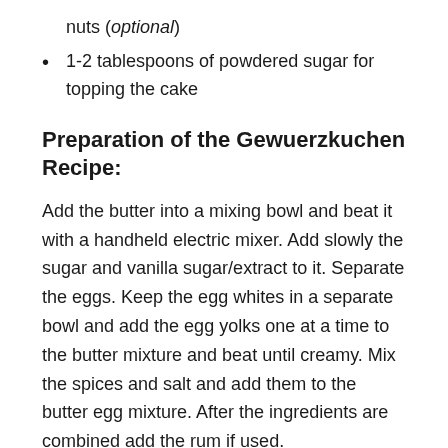nuts (optional)
1-2 tablespoons of powdered sugar for topping the cake
Preparation of the Gewuerzkuchen Recipe:
Add the butter into a mixing bowl and beat it with a handheld electric mixer. Add slowly the sugar and vanilla sugar/extract to it. Separate the eggs. Keep the egg whites in a separate bowl and add the egg yolks one at a time to the butter mixture and beat until creamy. Mix the spices and salt and add them to the butter egg mixture. After the ingredients are combined add the rum if used.
In a separate bowl mix the flour, cocoa, and baking powder. Sift it into the mixing bowl over the butter mixture and beat until ingredients are combined. Slowly add the milk (room temperature) to it.
Beat the egg whites until stiff. Spread the chocolate